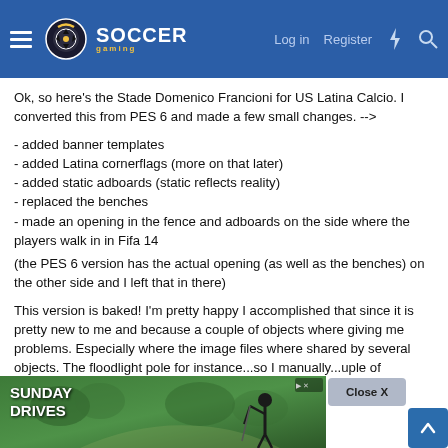Soccer Gaming - Logo, Log in, Register
Ok, so here's the Stade Domenico Francioni for US Latina Calcio. I converted this from PES 6 and made a few small changes. -->
- added banner templates
- added Latina cornerflags (more on that later)
- added static adboards (static reflects reality)
- replaced the benches
- made an opening in the fence and adboards on the side where the players walk in in Fifa 14
(the PES 6 version has the actual opening (as well as the benches) on the other side and I left that in there)
This version is baked! I'm pretty happy I accomplished that since it is pretty new to me and because a couple of objects where giving me problems. Especially where the image files where shared by several objects. The floodlight pole for instance...so I manually...couple of
[Figure (screenshot): Advertisement banner for 'Sunday Drives' with green outdoor background and golfer silhouette]